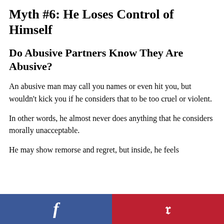Myth #6: He Loses Control of Himself
Do Abusive Partners Know They Are Abusive?
An abusive man may call you names or even hit you, but wouldn't kick you if he considers that to be too cruel or violent.
In other words, he almost never does anything that he considers morally unacceptable.
He may show remorse and regret, but inside, he feels
Facebook | Pinterest